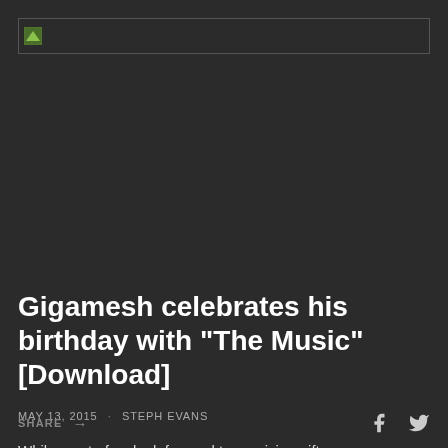[Figure (logo): Website logo/header bar with small green image icon on dark background, bordered rectangle]
Gigamesh celebrates his birthday with "The Music" [Download]
MAY 13, 2015 · STEPH EVANS
While most of us look forward to receiving gifts on our birthday, Gigamesh likes to celebrate by being generous to his fans. Yesterday, he debuted "The Music" on his SoundCloud…
SHARE →